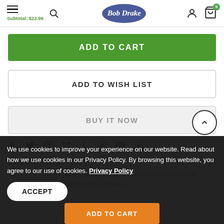Bob Drake — Subtotal: $22.99
ADD TO CART
ADD TO WISH LIST
BUY IT NOW
Share icons: Facebook, Twitter, Pinterest, Grid, Anchor, Heart, Email, Plus
DESCRIPTION
his is a must for properly sealing the glass into the windshield frame. Unlike the local glass shop types, ours is a
We use cookies to improve your experience on our website. Read about how we use cookies in our Privacy Policy. By browsing this website, you agree to our use of cookies. Privacy Policy
ACCEPT
ADD TO CART